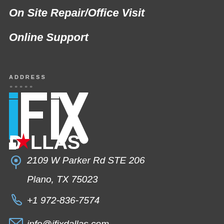On Site Repair/Office Visit
Online Support
ADDRESS
[Figure (logo): iFix Dallas logo with blue 'i', 'Fix' text and 'DALLAS' with red star replacing the 'A']
2109 W Parker Rd STE 206 Plano, TX 75023
+1 972-836-7574
info@ifixdallas.com